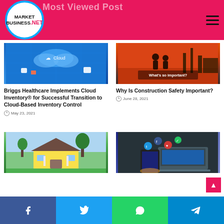MARKET BUSINESS.NET
[Figure (photo): Healthcare cloud inventory illustration with blue digital network graphics]
Briggs Healthcare Implements Cloud Inventory® for Successful Transition to Cloud-Based Inventory Control
May 23, 2021
[Figure (photo): Construction safety silhouette photo with text 'What's so important?']
Why Is Construction Safety Important?
June 28, 2021
[Figure (photo): House exterior photo with green garden]
[Figure (photo): Social media icons with smartphone and laptop photo]
f  t  WhatsApp  Telegram